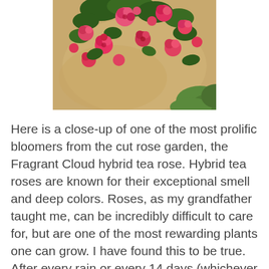[Figure (photo): Overhead close-up photo of a rose garden bed with pink and red blooming roses growing in sandy/mulched soil, with green grass visible at the lower right corner.]
Here is a close-up of one of the most prolific bloomers from the cut rose garden, the Fragrant Cloud hybrid tea rose. Hybrid tea roses are known for their exceptional smell and deep colors. Roses, as my grandfather taught me, can be incredibly difficult to care for, but are one of the most rewarding plants one can grow. I have found this to be true. After every rain or every 14 days (whichever